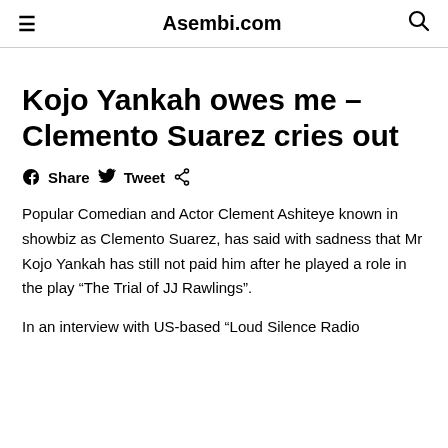Asembi.com
Kojo Yankah owes me – Clemento Suarez cries out
Share  Tweet
Popular Comedian and Actor Clement Ashiteye known in showbiz as Clemento Suarez, has said with sadness that Mr Kojo Yankah has still not paid him after he played a role in the play “The Trial of JJ Rawlings”.
In an interview with US-based “Loud Silence Radio